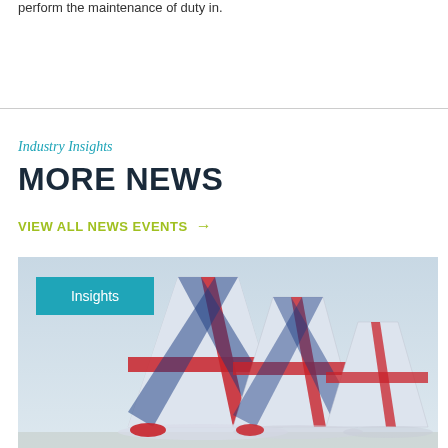perform the maintenance of duty in.
Industry Insights
MORE NEWS
VIEW ALL NEWS EVENTS →
[Figure (photo): British Airways aircraft tail fins parked on tarmac, showing red and blue Union Jack livery on multiple aircraft tails against a pale sky, with an 'Insights' teal badge overlaid on the image]